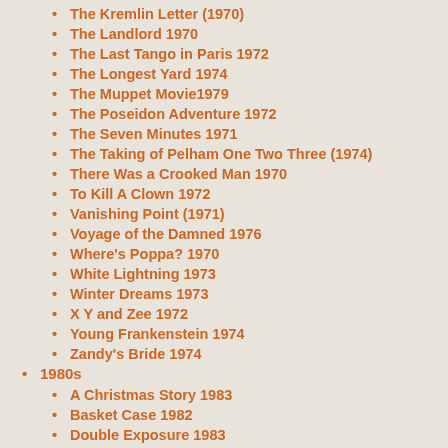The Kremlin Letter (1970)
The Landlord 1970
The Last Tango in Paris 1972
The Longest Yard 1974
The Muppet Movie1979
The Poseidon Adventure 1972
The Seven Minutes 1971
The Taking of Pelham One Two Three (1974)
There Was a Crooked Man 1970
To Kill A Clown 1972
Vanishing Point (1971)
Voyage of the Damned 1976
Where's Poppa? 1970
White Lightning 1973
Winter Dreams 1973
X Y and Zee 1972
Young Frankenstein 1974
Zandy's Bride 1974
1980s
A Christmas Story 1983
Basket Case 1982
Double Exposure 1983
My Bodyguard 1980
Night Warning 1983
Return to Oz 1985